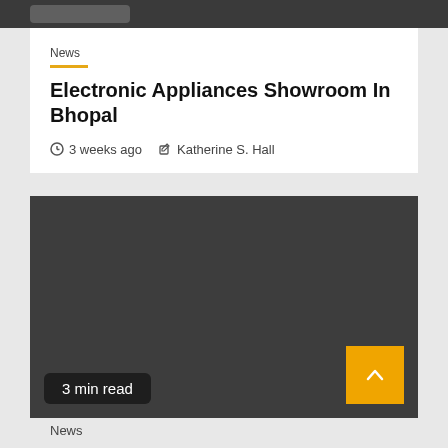News
Electronic Appliances Showroom In Bhopal
3 weeks ago   Katherine S. Hall
[Figure (photo): Dark gray placeholder image for Electronic Appliances Showroom In Bhopal article]
3 min read
News